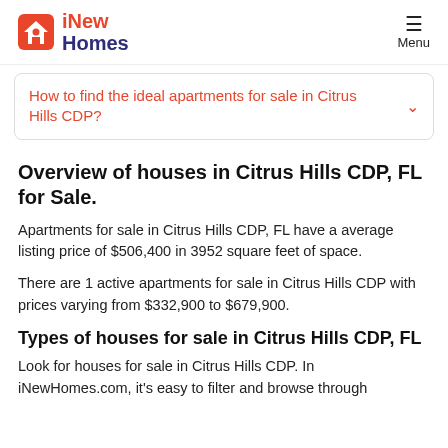iNew Homes | Menu
How to find the ideal apartments for sale in Citrus Hills CDP?
Overview of houses in Citrus Hills CDP, FL for Sale.
Apartments for sale in Citrus Hills CDP, FL have a average listing price of $506,400 in 3952 square feet of space.
There are 1 active apartments for sale in Citrus Hills CDP with prices varying from $332,900 to $679,900.
Types of houses for sale in Citrus Hills CDP, FL
Look for houses for sale in Citrus Hills CDP. In iNewHomes.com, it's easy to filter and browse through